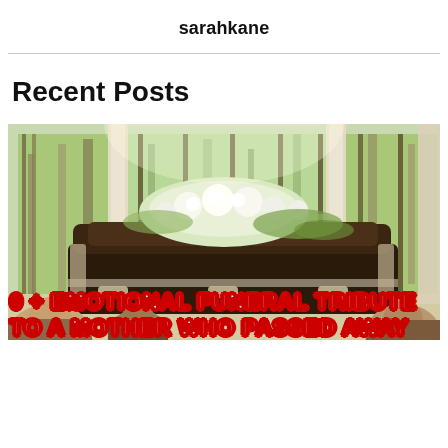sarahkane
Recent Posts
[Figure (photo): A dark wooden casket adorned with white flowers in a bright funeral hall with large windows overlooking trees, mourners seated in the foreground. Overlay text reads: '0 + Emotional Funeral Tribute To A Mother Who Passed Away']